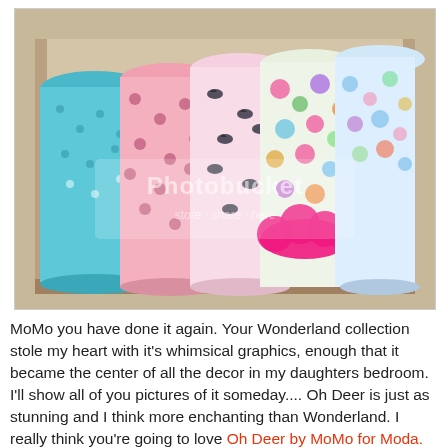[Figure (photo): A cardboard box containing multiple rolled bolts of colorful fabric, including teal with white dots, pink with polka dots, pink with birds, floral prints, and patterned fabrics. A Photobucket watermark is visible over the image.]
MoMo you have done it again. Your Wonderland collection stole my heart with it's whimsical graphics, enough that it became the center of all the decor in my daughters bedroom. I'll show all of you pictures of it someday.... Oh Deer is just as stunning and I think more enchanting than Wonderland. I really think you're going to love Oh Deer by MoMo for Moda.